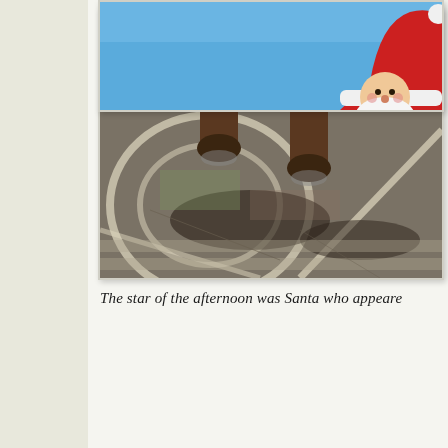[Figure (photo): Close-up photo of a horse's legs walking on a paved street with painted white lines and shadows, viewed from below.]
The star of the afternoon was Santa who appeare
[Figure (photo): Photo of Santa Claus against a bright blue sky background, partially visible at bottom of page.]